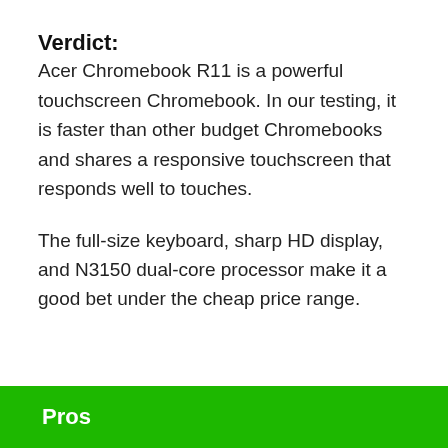Verdict:
Acer Chromebook R11 is a powerful touchscreen Chromebook. In our testing, it is faster than other budget Chromebooks and shares a responsive touchscreen that responds well to touches.
The full-size keyboard, sharp HD display, and N3150 dual-core processor make it a good bet under the cheap price range.
Pros